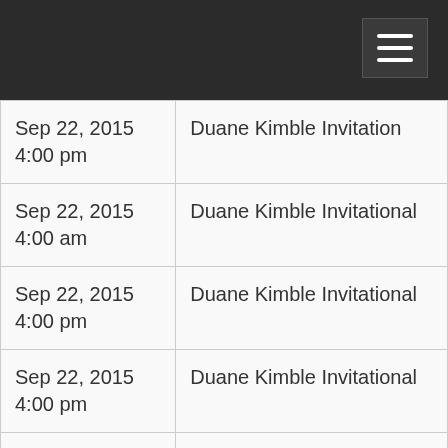| Sep 22, 2015
4:00 pm | Duane Kimble Invitation |
| Sep 22, 2015
4:00 am | Duane Kimble Invitational |
| Sep 22, 2015
4:00 pm | Duane Kimble Invitational |
| Sep 22, 2015
4:00 pm | Duane Kimble Invitational |
| Sep 22, 2015
4:00 pm | Duane Kimble Invitational |
| Sep 20, 2015
8:00 am | Heartland 30k Series |